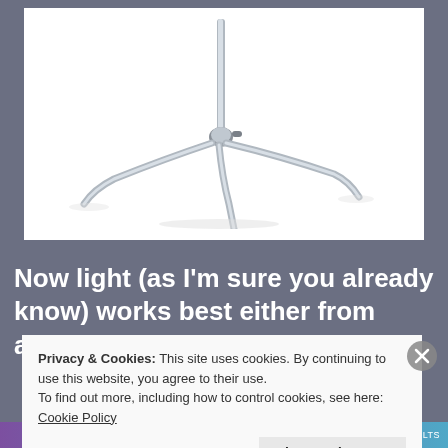[Figure (photo): A chrome/steel C-stand (light stand) with tripod base legs and vertical pole, photographed on white background. The base shows three curved metal legs meeting at a central hub with a locking knob.]
Now light (as I'm sure you already know) works best either from above (it works for the sun) or
Privacy & Cookies: This site uses cookies. By continuing to use this website, you agree to their use.
To find out more, including how to control cookies, see here: Cookie Policy
Close and accept